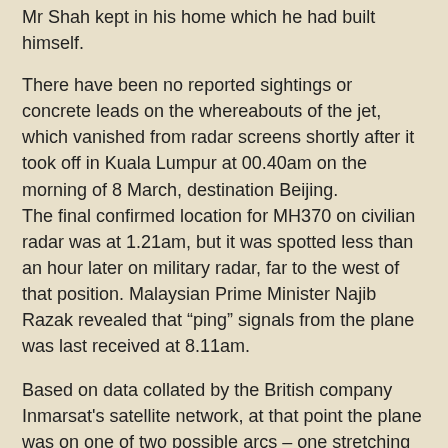Mr Shah kept in his home which he had built himself.
There have been no reported sightings or concrete leads on the whereabouts of the jet, which vanished from radar screens shortly after it took off in Kuala Lumpur at 00.40am on the morning of 8 March, destination Beijing. The final confirmed location for MH370 on civilian radar was at 1.21am, but it was spotted less than an hour later on military radar, far to the west of that position. Malaysian Prime Minister Najib Razak revealed that “ping” signals from the plane was last received at 8.11am.
Based on data collated by the British company Inmarsat's satellite network, at that point the plane was on one of two possible arcs – one stretching north from Thailand to Kazakhstan and crossing more than 10 countries, and one to the south over Indonesia and out across the southern Indian ocean. Experts have said the aircraft could have been on the ground when it sent its satellite signals.
Boeing 777s need a runway of at least 5,000ft long, limiting the number of possible sites within the 2,200 nautical mile-